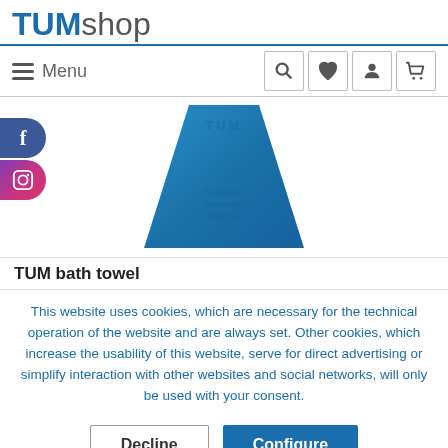TUMshop
[Figure (logo): TUMshop logo with TUM in bold blue and shop in grey]
[Figure (photo): Blue TUM bath towel laid flat, trapezoidal shape with TUM text woven in]
TUM bath towel
This website uses cookies, which are necessary for the technical operation of the website and are always set. Other cookies, which increase the usability of this website, serve for direct advertising or simplify interaction with other websites and social networks, will only be used with your consent.